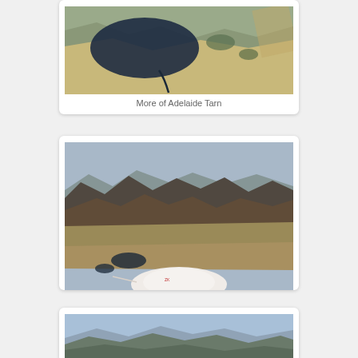[Figure (photo): Aerial view of Adelaide Tarn, a dark lake surrounded by rocky terrain and sparse vegetation, viewed from above]
More of Adelaide Tarn
[Figure (photo): Aerial view from a small aircraft over rugged mountain terrain with rocky ridges, tussock grass valleys and small dark tarns, with the white aircraft nose/wing visible in foreground]
[Figure (photo): Aerial view of mountain ranges with blue sky and hazy distant peaks, taken from an aircraft]